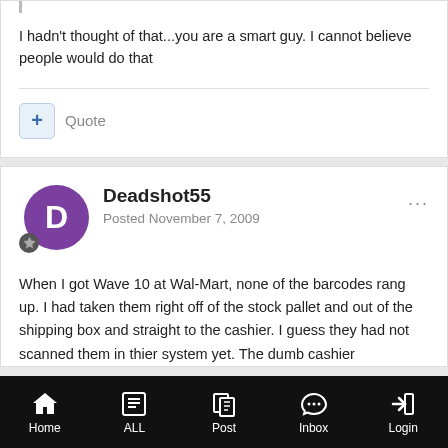I hadn't thought of that...you are a smart guy. I cannot believe people would do that
Quote
Deadshot55
Posted November 7, 2009
When I got Wave 10 at Wal-Mart, none of the barcodes rang up. I had taken them right off of the stock pallet and out of the shipping box and straight to the cashier. I guess they had not scanned them in thier system yet. The dumb cashier
Home  ALL  Post  Inbox  Login